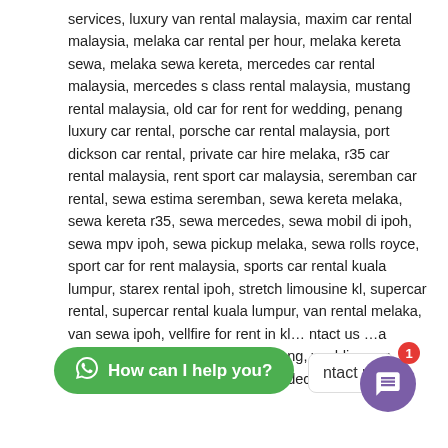services, luxury van rental malaysia, maxim car rental malaysia, melaka car rental per hour, melaka kereta sewa, melaka sewa kereta, mercedes car rental malaysia, mercedes s class rental malaysia, mustang rental malaysia, old car for rent for wedding, penang luxury car rental, porsche car rental malaysia, port dickson car rental, private car hire melaka, r35 car rental malaysia, rent sport car malaysia, seremban car rental, sewa estima seremban, sewa kereta melaka, sewa kereta r35, sewa mercedes, sewa mobil di ipoh, sewa mpv ipoh, sewa pickup melaka, sewa rolls royce, sport car for rent malaysia, sports car rental kuala lumpur, starex rental ipoh, stretch limousine kl, supercar rental, supercar rental kuala lumpur, van rental melaka, van sewa ipoh, vellfire for rent in kl... ntact us ...a penang, vintage car rental in penang, wedding car decoration malaysia, wedding car decoration pi
[Figure (screenshot): Green WhatsApp-style chat button with text 'How can I help you?' and a purple chat widget with notification badge showing 1]